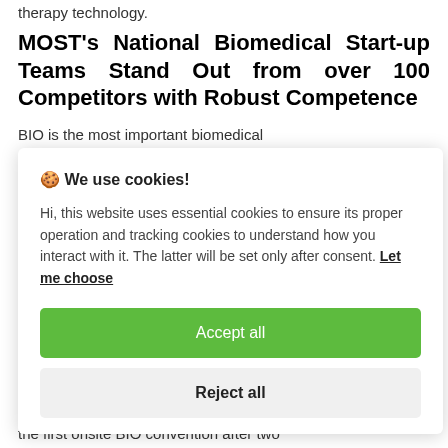therapy technology.
MOST's National Biomedical Start-up Teams Stand Out from over 100 Competitors with Robust Competence
BIO is the most important biomedical
[Figure (screenshot): Cookie consent dialog box with title 'We use cookies!', body text about essential and tracking cookies, a 'Let me choose' link, an 'Accept all' green button, and a 'Reject all' light gray button.]
the first onsite BIO convention after two